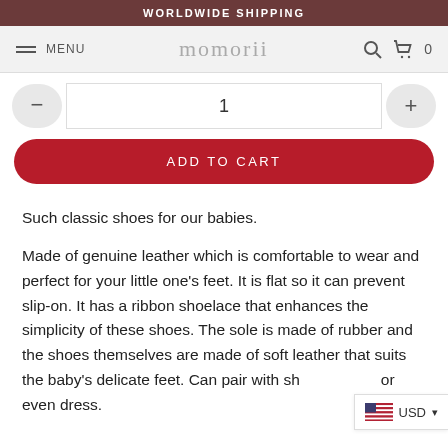WORLDWIDE SHIPPING
MENU   momorii   🔍  🛒 0
1
ADD TO CART
Such classic shoes for our babies.
Made of genuine leather which is comfortable to wear and perfect for your little one's feet. It is flat so it can prevent slip-on. It has a ribbon shoelace that enhances the simplicity of these shoes. The sole is made of rubber and the shoes themselves are made of soft leather that suits the baby's delicate feet. Can pair with sh or even dress.
USD